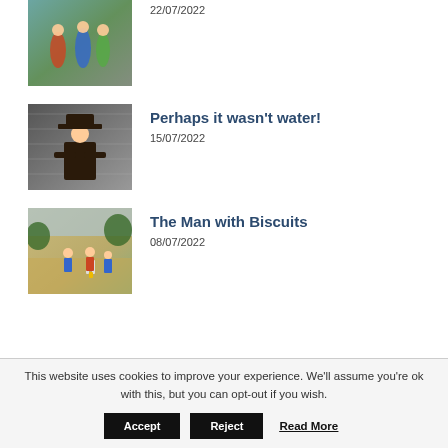[Figure (photo): Children running in colorful sports kit on a field, partially cropped at top of page]
22/07/2022
[Figure (photo): Child dressed in vintage-style costume with hat and arms crossed, in front of a sparkly/metallic backdrop]
Perhaps it wasn't water!
15/07/2022
[Figure (photo): Children playing cricket on a dry grass field in summer, with stumps and cricket kit visible]
The Man with Biscuits
08/07/2022
This website uses cookies to improve your experience. We'll assume you're ok with this, but you can opt-out if you wish.
Accept
Reject
Read More